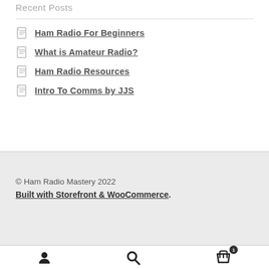Recent Posts
Ham Radio For Beginners
What is Amateur Radio?
Ham Radio Resources
Intro To Comms by JJS
© Ham Radio Mastery 2022
Built with Storefront & WooCommerce.